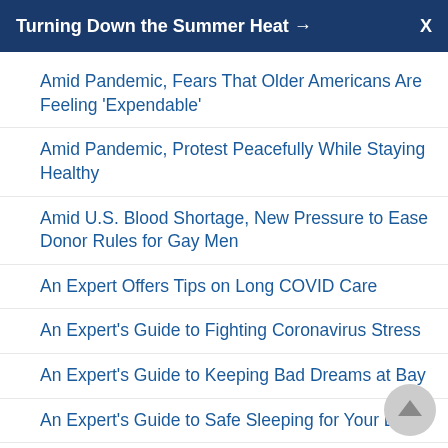Turning Down the Summer Heat → X
Amid Pandemic, Fears That Older Americans Are Feeling 'Expendable'
Amid Pandemic, Protest Peacefully While Staying Healthy
Amid U.S. Blood Shortage, New Pressure to Ease Donor Rules for Gay Men
An Expert Offers Tips on Long COVID Care
An Expert's Guide to Fighting Coronavirus Stress
An Expert's Guide to Keeping Bad Dreams at Bay
An Expert's Guide to Safe Sleeping for Your Baby
Anchor It! Toppling TVs, Furniture Can Injure and Kill Kids
Ancient DNA Points to Oral Herpes' Beginnings
Animal Study Offers Hope for a Better Herpes